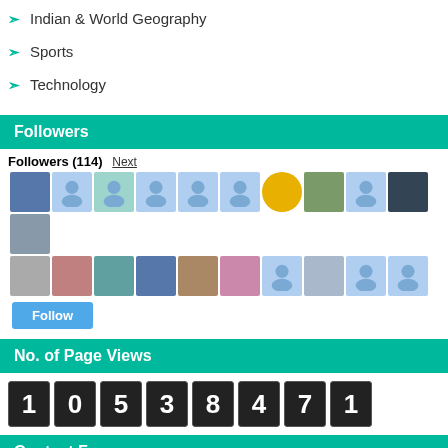Indian & World Geography
Sports
Technology
Followers
Followers (114) Next
[Figure (other): Grid of 21 follower profile photos and avatar placeholders]
No. of Page Views
10538471
Contact Form